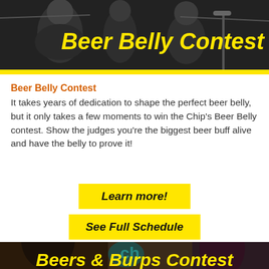[Figure (photo): Outdoor event photo showing people at a Beer Belly Contest with dark background and yellow contest title overlay]
Beer Belly Contest
It takes years of dedication to shape the perfect beer belly, but it only takes a few moments to win the Chip's Beer Belly contest. Show the judges you're the biggest beer buff alive and have the belly to prove it!
Learn more!
See Full Schedule
[Figure (photo): Outdoor event photo of shirtless man drinking from a can with woman laughing beside him, with Beers & Burps Contest title overlay at bottom]